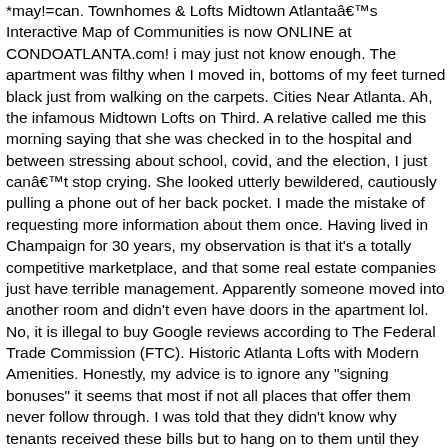*may!=can. Townhomes & Lofts Midtown Atlantaâs Interactive Map of Communities is now ONLINE at CONDOATLANTA.com! i may just not know enough. The apartment was filthy when I moved in, bottoms of my feet turned black just from walking on the carpets. Cities Near Atlanta. Ah, the infamous Midtown Lofts on Third. A relative called me this morning saying that she was checked in to the hospital and between stressing about school, covid, and the election, I just canât stop crying. She looked utterly bewildered, cautiously pulling a phone out of her back pocket. I made the mistake of requesting more information about them once. Having lived in Champaign for 30 years, my observation is that it's a totally competitive marketplace, and that some real estate companies just have terrible management. Apparently someone moved into another room and didn't even have doors in the apartment lol. No, it is illegal to buy Google reviews according to The Federal Trade Commission (FTC). Historic Atlanta Lofts with Modern Amenities. Honestly, my advice is to ignore any "signing bonuses" it seems that most if not all places that offer them never follow through. I was told that they didn't know why tenants received these bills but to hang on to them until they could find out, in case we had to pay. Midtown is nicknamed Atlanta's "Heart of the Arts," home to the Woodruff Arts